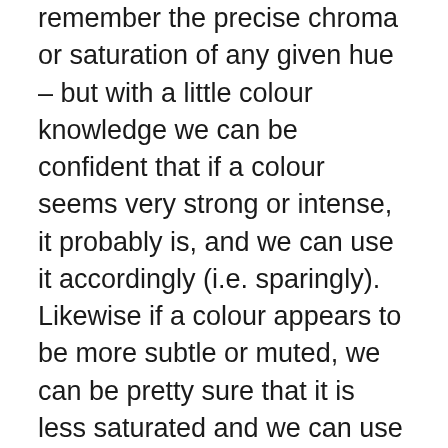remember the precise chroma or saturation of any given hue – but with a little colour knowledge we can be confident that if a colour seems very strong or intense, it probably is, and we can use it accordingly (i.e. sparingly). Likewise if a colour appears to be more subtle or muted, we can be pretty sure that it is less saturated and we can use a little more of it to balance out the more saturated colours.
Maintaining colour balance in the garden is another reason for using plenty of – you guessed it: green. And I don't mean yellow-green, blue-green, gray-green or variegated green; I mean the basic hue of green – think lilac foliage or kinnickinnick, daylily, Russian cypress, peony or pine. These foliage greens have medium value and medium saturation – which means they can balance and bring together the stronger and weaker colours. Are